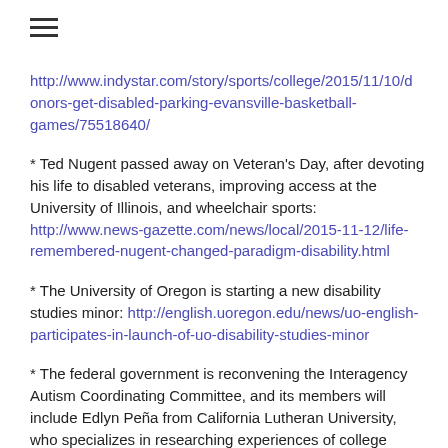http://www.indystar.com/story/sports/college/2015/11/10/donors-get-disabled-parking-evansville-basketball-games/75518640/
* Ted Nugent passed away on Veteran’s Day, after devoting his life to disabled veterans, improving access at the University of Illinois, and wheelchair sports: http://www.news-gazette.com/news/local/2015-11-12/life-remembered-nugent-changed-paradigm-disability.html
* The University of Oregon is starting a new disability studies minor: http://english.uoregon.edu/news/uo-english-participates-in-launch-of-uo-disability-studies-minor
* The federal government is reconvening the Interagency Autism Coordinating Committee, and its members will include Edlyn Peña from California Lutheran University, who specializes in researching experiences of college students